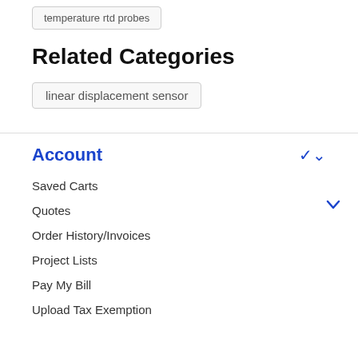temperature rtd probes
Related Categories
linear displacement sensor
Account
Saved Carts
Quotes
Order History/Invoices
Project Lists
Pay My Bill
Upload Tax Exemption